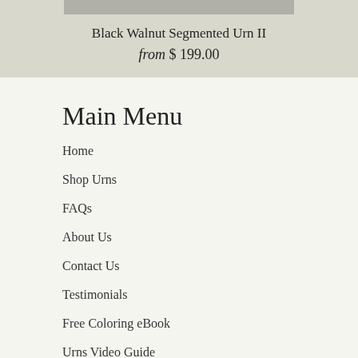[Figure (photo): Top portion of a product image for Black Walnut Segmented Urn II, shown as a grey rectangle]
Black Walnut Segmented Urn II
from $ 199.00
Main Menu
Home
Shop Urns
FAQs
About Us
Contact Us
Testimonials
Free Coloring eBook
Urns Video Guide
Footer